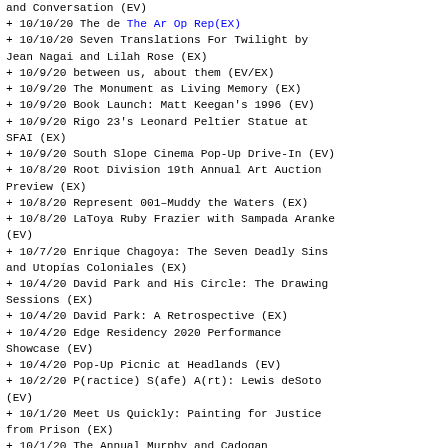and Conversation (EV)
+ 10/10/20 The de The Ar Op Rep (EX)
+ 10/10/20 Seven Translations For Twilight by Jean Nagai and Lilah Rose (EX)
+ 10/9/20 between us, about them (EV/EX)
+ 10/9/20 The Monument as Living Memory (EX)
+ 10/9/20 Book Launch: Matt Keegan's 1996 (EV)
+ 10/9/20 Rigo 23's Leonard Peltier Statue at SFAI (EX)
+ 10/9/20 South Slope Cinema Pop-Up Drive-In (EV)
+ 10/8/20 Root Division 19th Annual Art Auction Preview (EX)
+ 10/8/20 Represent 001–Muddy the Waters (EX)
+ 10/8/20 LaToya Ruby Frazier with Sampada Aranke (EV)
+ 10/7/20 Enrique Chagoya: The Seven Deadly Sins and Utopías Coloniales (EX)
+ 10/4/20 David Park and His Circle: The Drawing Sessions (EX)
+ 10/4/20 David Park: A Retrospective (EX)
+ 10/4/20 Edge Residency 2020 Performance Showcase (EV)
+ 10/4/20 Pop-Up Picnic at Headlands (EV)
+ 10/2/20 P(ractice) S(afe) A(rt): Lewis deSoto (EV)
+ 10/1/20 Meet Us Quickly: Painting for Justice from Prison (EX)
+ 10/1/20 The Annual Murphy and Cadogan Contemporary Art Awards Exhibition (EV/EX)